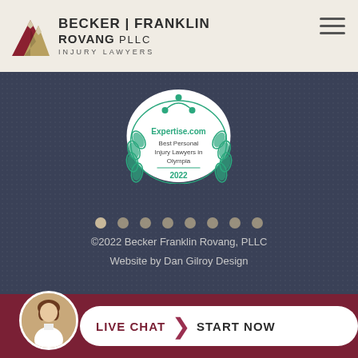[Figure (logo): Becker Franklin Rovang PLLC Injury Lawyers logo with mountain peak icon]
[Figure (illustration): Expertise.com Best Personal Injury Lawyers in Olympia 2022 badge/seal with laurel wreath]
[Figure (other): Carousel navigation dots, 8 dots total]
©2022 Becker Franklin Rovang, PLLC
Website by Dan Gilroy Design
[Figure (other): Live Chat Start Now button bar with female avatar photo]